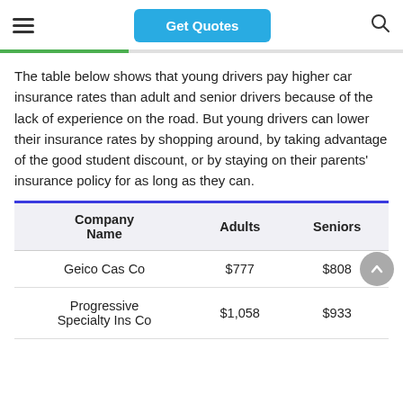Get Quotes
The table below shows that young drivers pay higher car insurance rates than adult and senior drivers because of the lack of experience on the road. But young drivers can lower their insurance rates by shopping around, by taking advantage of the good student discount, or by staying on their parents' insurance policy for as long as they can.
| Company Name | Adults | Seniors |
| --- | --- | --- |
| Geico Cas Co | $777 | $808 |
| Progressive Specialty Ins Co | $1,058 | $933 |